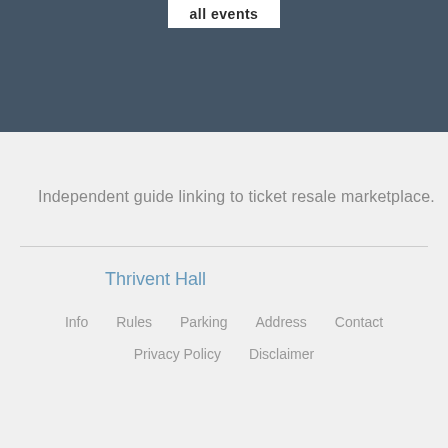all events
Independent guide linking to ticket resale marketplace.
Thrivent Hall
Info   Rules   Parking   Address   Contact   Privacy Policy   Disclaimer